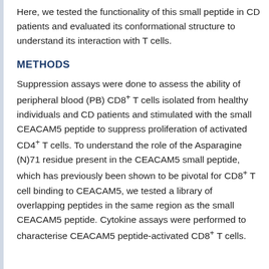Here, we tested the functionality of this small peptide in CD patients and evaluated its conformational structure to understand its interaction with T cells.
METHODS
Suppression assays were done to assess the ability of peripheral blood (PB) CD8+ T cells isolated from healthy individuals and CD patients and stimulated with the small CEACAM5 peptide to suppress proliferation of activated CD4+ T cells. To understand the role of the Asparagine (N)71 residue present in the CEACAM5 small peptide, which has previously been shown to be pivotal for CD8+ T cell binding to CEACAM5, we tested a library of overlapping peptides in the same region as the small CEACAM5 peptide. Cytokine assays were performed to characterise CEACAM5 peptide-activated CD8+ T cells.